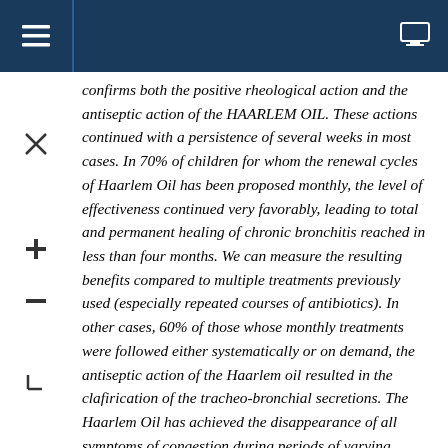≡  [monitor icon]
confirms both the positive rheological action and the antiseptic action of the HAARLEM OIL. These actions continued with a persistence of several weeks in most cases. In 70% of children for whom the renewal cycles of Haarlem Oil has been proposed monthly, the level of effectiveness continued very favorably, leading to total and permanent healing of chronic bronchitis reached in less than four months. We can measure the resulting benefits compared to multiple treatments previously used (especially repeated courses of antibiotics). In other cases, 60% of those whose monthly treatments were followed either systematically or on demand, the antiseptic action of the Haarlem oil resulted in the clafirication of the tracheo-bronchial secretions. The Haarlem Oil has achieved the disappearance of all symptoms of congestion during periods of varying lengths and also very significantly reduced the episodes of superinfection, only